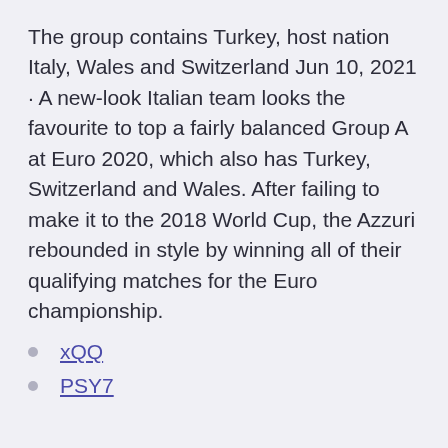The group contains Turkey, host nation Italy, Wales and Switzerland Jun 10, 2021 · A new-look Italian team looks the favourite to top a fairly balanced Group A at Euro 2020, which also has Turkey, Switzerland and Wales. After failing to make it to the 2018 World Cup, the Azzuri rebounded in style by winning all of their qualifying matches for the Euro championship.
xQQ
PSY7